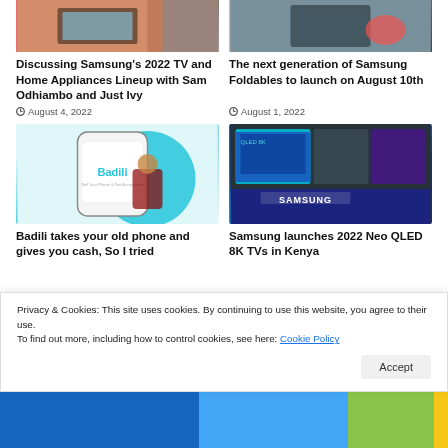[Figure (photo): Top left article image - TV and home appliances]
[Figure (photo): Top right article image - Samsung foldable phone on dark surface]
Discussing Samsung’s 2022 TV and Home Appliances Lineup with Sam Odhiambo and Just Ivy
August 4, 2022
The next generation of Samsung Foldables to launch on August 10th
August 1, 2022
[Figure (photo): Badili article image - man holding phone and cash with Badili logo]
[Figure (photo): Samsung store image showing 2022 Neo QLED 8K TVs on display]
Badili takes your old phone and gives you cash, So I tried
Samsung launches 2022 Neo QLED 8K TVs in Kenya
Privacy & Cookies: This site uses cookies. By continuing to use this website, you agree to their use.
To find out more, including how to control cookies, see here: Cookie Policy
Accept